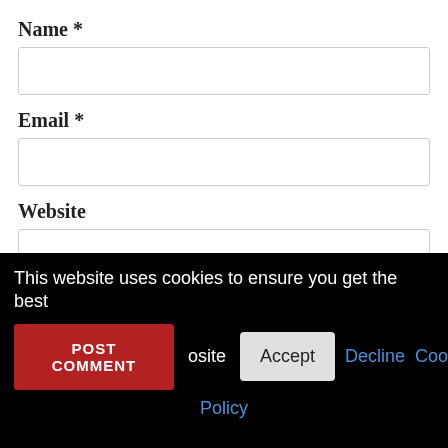Name *
Email *
Website
Save my name, email, and website in this browser for the next time I comment.
This website uses cookies to ensure you get the best
POST COMMENT
Accept
Decline
Cookie
Policy